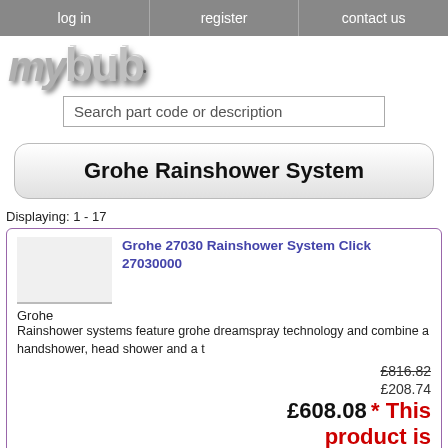log in | register | contact us
[Figure (logo): mybub logo in 3D bubble text style]
Search part code or description
Grohe Rainshower System
Displaying: 1 - 17
Grohe 27030 Rainshower System Click 27030000
Grohe
Rainshower systems feature grohe dreamspray technology and combine a handshower, head shower and a t
£816.82
£208.74
£608.08 * This product is